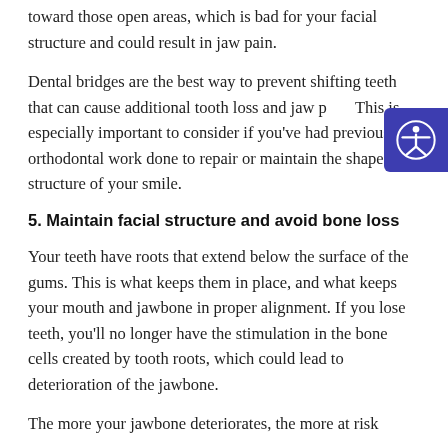toward those open areas, which is bad for your facial structure and could result in jaw pain.
Dental bridges are the best way to prevent shifting teeth that can cause additional tooth loss and jaw pain. This is especially important to consider if you've had previous orthodontal work done to repair or maintain the shape and structure of your smile.
5. Maintain facial structure and avoid bone loss
Your teeth have roots that extend below the surface of the gums. This is what keeps them in place, and what keeps your mouth and jawbone in proper alignment. If you lose teeth, you'll no longer have the stimulation in the bone cells created by tooth roots, which could lead to deterioration of the jawbone.
The more your jawbone deteriorates, the more at risk